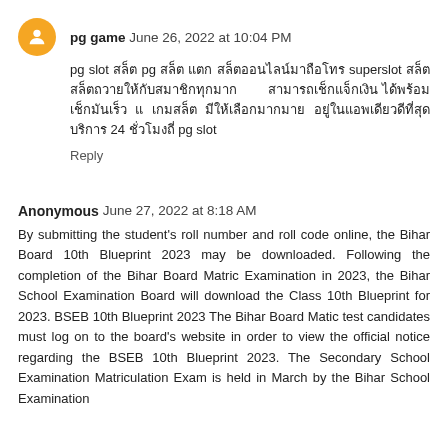pg game June 26, 2022 at 10:04 PM
pg slot [Thai text] pg [Thai text] superslot [Thai text] 24 [Thai text] pg slot
Reply
Anonymous June 27, 2022 at 8:18 AM
By submitting the student's roll number and roll code online, the Bihar Board 10th Blueprint 2023 may be downloaded. Following the completion of the Bihar Board Matric Examination in 2023, the Bihar School Examination Board will download the Class 10th Blueprint for 2023. BSEB 10th Blueprint 2023 The Bihar Board Matic test candidates must log on to the board's website in order to view the official notice regarding the BSEB 10th Blueprint 2023. The Secondary School Examination Matriculation Exam is held in March by the Bihar School Examination